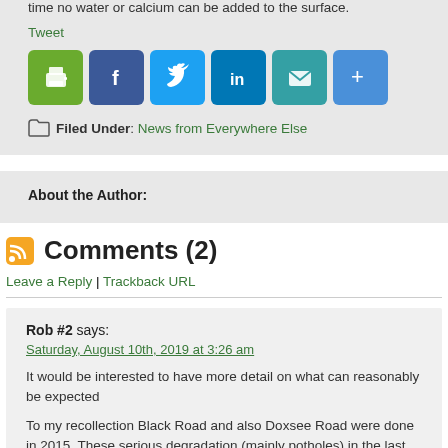time no water or calcium can be added to the surface.
Tweet
[Figure (infographic): Row of social share icons: print (green), Facebook (blue), Twitter (light blue), LinkedIn (blue), Email (teal), More/Plus (blue)]
Filed Under: News from Everywhere Else
About the Author:
Comments (2)
Leave a Reply | Trackback URL
Rob #2 says:
Saturday, August 10th, 2019 at 3:26 am
It would be interested to have more detail on what can reasonably be expected
To my recollection Black Road and also Doxsee Road were done in 2015. These serious degradation (mainly potholes) in the last two years. The pothole repairs